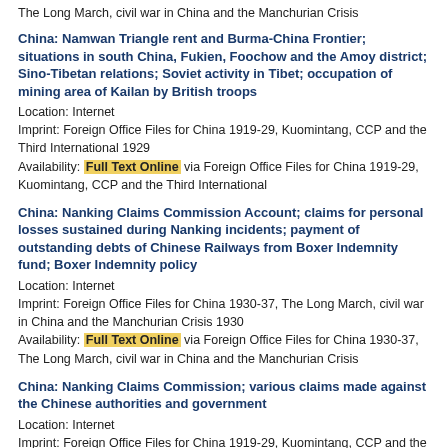The Long March, civil war in China and the Manchurian Crisis
China: Namwan Triangle rent and Burma-China Frontier; situations in south China, Fukien, Foochow and the Amoy district; Sino-Tibetan relations; Soviet activity in Tibet; occupation of mining area of Kailan by British troops
Location: Internet
Imprint: Foreign Office Files for China 1919-29, Kuomintang, CCP and the Third International 1929
Availability: Full Text Online via Foreign Office Files for China 1919-29, Kuomintang, CCP and the Third International
China: Nanking Claims Commission Account; claims for personal losses sustained during Nanking incidents; payment of outstanding debts of Chinese Railways from Boxer Indemnity fund; Boxer Indemnity policy
Location: Internet
Imprint: Foreign Office Files for China 1930-37, The Long March, civil war in China and the Manchurian Crisis 1930
Availability: Full Text Online via Foreign Office Files for China 1930-37, The Long March, civil war in China and the Manchurian Crisis
China: Nanking Claims Commission; various claims made against the Chinese authorities and government
Location: Internet
Imprint: Foreign Office Files for China 1919-29, Kuomintang, CCP and the Third International 1929
Availability: Full Text Online via Foreign Office Files for China 1919-29,